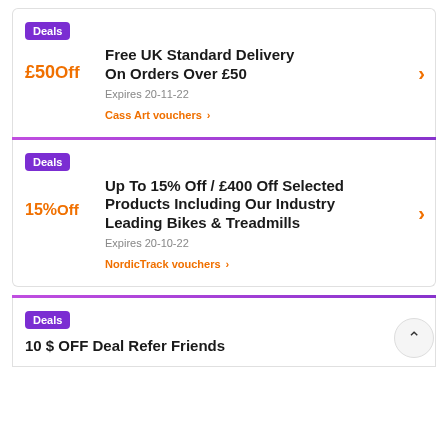Deals | Free UK Standard Delivery On Orders Over £50 | £500ff | Expires 20-11-22 | Cass Art vouchers
Deals | Up To 15% Off / £400 Off Selected Products Including Our Industry Leading Bikes & Treadmills | 15%Off | Expires 20-10-22 | NordicTrack vouchers
Deals | 10 $ OFF Deal Refer Friends